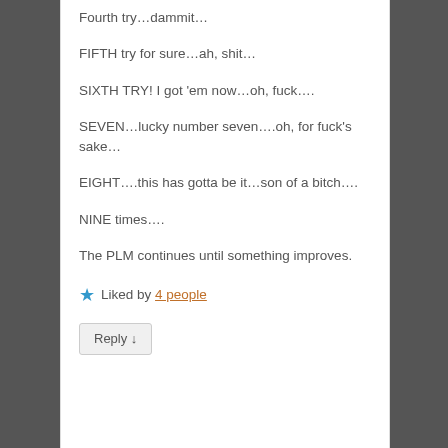Fourth try…dammit…
FIFTH try for sure…ah, shit…
SIXTH TRY! I got 'em now…oh, fuck….
SEVEN…lucky number seven….oh, for fuck's sake…
EIGHT….this has gotta be it…son of a bitch….
NINE times….
The PLM continues until something improves.
★ Liked by 4 people
Reply ↓